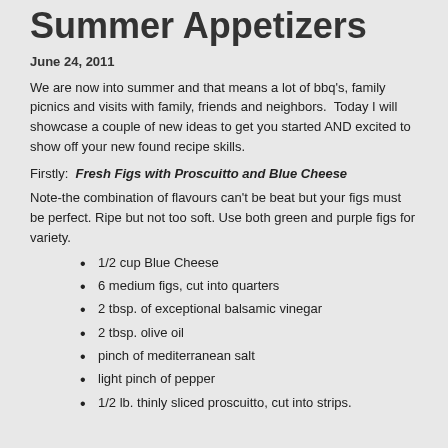Summer Appetizers
June 24, 2011
We are now into summer and that means a lot of bbq's, family picnics and visits with family, friends and neighbors.  Today I will showcase a couple of new ideas to get you started AND excited to show off your new found recipe skills.
Firstly:  Fresh Figs with Proscuitto and Blue Cheese
Note-the combination of flavours can't be beat but your figs must be perfect. Ripe but not too soft. Use both green and purple figs for variety.
1/2 cup Blue Cheese
6 medium figs, cut into quarters
2 tbsp. of exceptional balsamic vinegar
2 tbsp. olive oil
pinch of mediterranean salt
light pinch of pepper
1/2 lb. thinly sliced proscuitto, cut into strips.